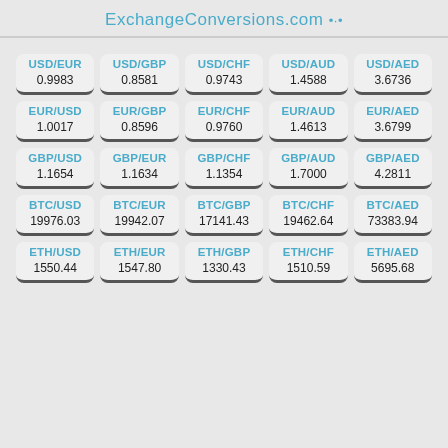ExchangeConversions.com
| Pair | Value |
| --- | --- |
| USD/EUR | 0.9983 |
| USD/GBP | 0.8581 |
| USD/CHF | 0.9743 |
| USD/AUD | 1.4588 |
| USD/AED | 3.6736 |
| EUR/USD | 1.0017 |
| EUR/GBP | 0.8596 |
| EUR/CHF | 0.9760 |
| EUR/AUD | 1.4613 |
| EUR/AED | 3.6799 |
| GBP/USD | 1.1654 |
| GBP/EUR | 1.1634 |
| GBP/CHF | 1.1354 |
| GBP/AUD | 1.7000 |
| GBP/AED | 4.2811 |
| BTC/USD | 19976.03 |
| BTC/EUR | 19942.07 |
| BTC/GBP | 17141.43 |
| BTC/CHF | 19462.64 |
| BTC/AED | 73383.94 |
| ETH/USD | 1550.44 |
| ETH/EUR | 1547.80 |
| ETH/GBP | 1330.43 |
| ETH/CHF | 1510.59 |
| ETH/AED | 5695.68 |